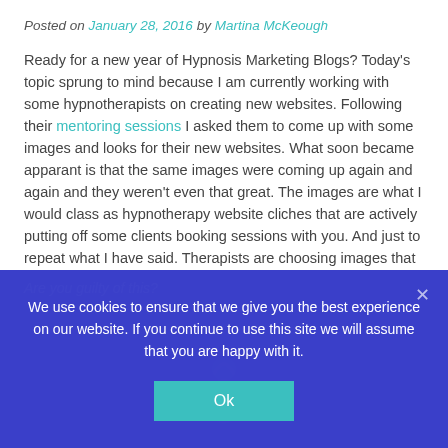Posted on January 28, 2016 by Martina McKeough
Ready for a new year of Hypnosis Marketing Blogs? Today's topic sprung to mind because I am currently working with some hypnotherapists on creating new websites. Following their mentoring sessions I asked them to come up with some images and looks for their new websites. What soon became apparant is that the same images were coming up again and again and they weren't even that great. The images are what I would class as hypnotherapy website cliches that are actively putting off some clients booking sessions with you. And just to repeat what I have said. Therapists are choosing images that actually repel customers!
Are you guilty of this?
We use cookies to ensure that we give you the best experience on our website. If you continue to use this site we will assume that you are happy with it.